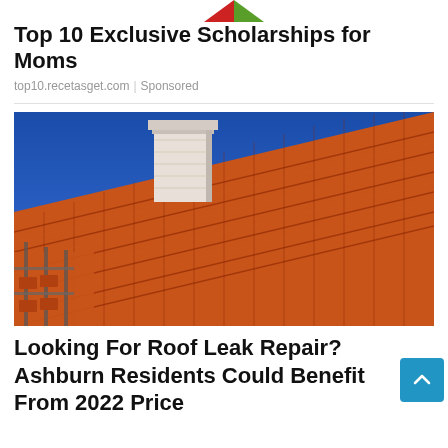[Figure (logo): Partial logo visible at top of page, green and red triangular shapes]
Top 10 Exclusive Scholarships for Moms
top10.recetasget.com | Sponsored
[Figure (photo): Close-up photograph of orange clay/terracotta roof tiles with a white chimney stack against a blue sky, with scaffolding visible on the left side]
Looking For Roof Leak Repair? Ashburn Residents Could Benefit From 2022 Price